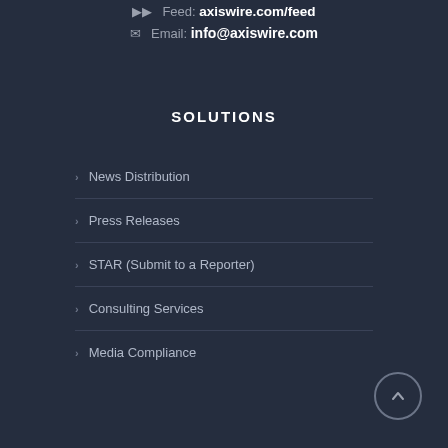Feed: axiswire.com/feed
Email: info@axiswire.com
SOLUTIONS
News Distribution
Press Releases
STAR (Submit to a Reporter)
Consulting Services
Media Compliance